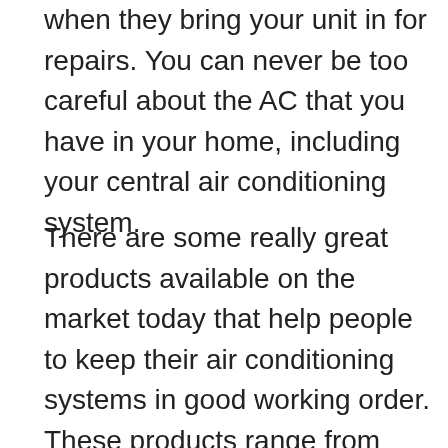when they bring your unit in for repairs. You can never be too careful about the AC that you have in your home, including your central air conditioning system.
There are some really great products available on the market today that help people to keep their air conditioning systems in good working order. These products range from simple do-it-yourself products to complex mechanical devices that require the technician to come into your home to complete a complicated task. The key to preventing AC failures is regular maintenance. If you keep up with the maintenance and make sure that your AC is not functioning below par then you can easily avoid expensive AC failures that can happen in the future. There are also several companies that offer extended warranties on their